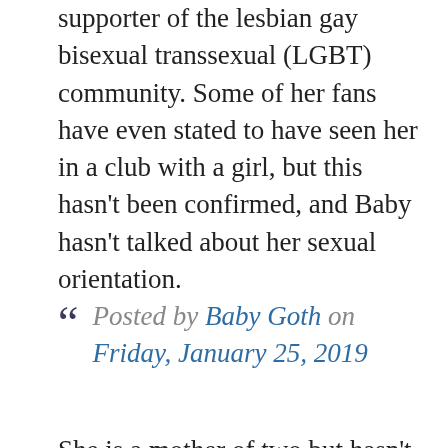supporter of the lesbian gay bisexual transsexual (LGBT) community. Some of her fans have even stated to have seen her in a club with a girl, but this hasn't been confirmed, and Baby hasn't talked about her sexual orientation.
Posted by Baby Goth on Friday, January 25, 2019
She is a mother of two but hasn't shared any details related to the children's father(s) – as she became pregnant when she was 19, it is rumored that the father is her high school sweetheart. It doesn't appear that she is